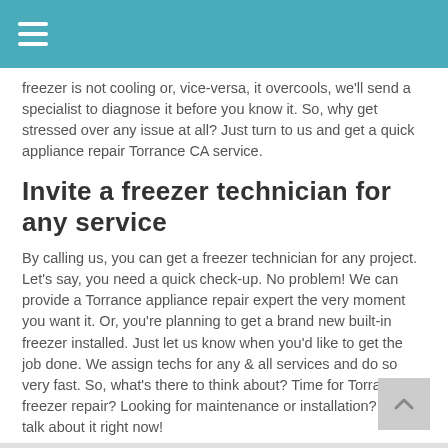freezer is not cooling or, vice-versa, it overcools, we'll send a specialist to diagnose it before you know it. So, why get stressed over any issue at all? Just turn to us and get a quick appliance repair Torrance CA service.
Invite a freezer technician for any service
By calling us, you can get a freezer technician for any project. Let's say, you need a quick check-up. No problem! We can provide a Torrance appliance repair expert the very moment you want it. Or, you're planning to get a brand new built-in freezer installed. Just let us know when you'd like to get the job done. We assign techs for any & all services and do so very fast. So, what's there to think about? Time for Torrance freezer repair? Looking for maintenance or installation? Let's talk about it right now!